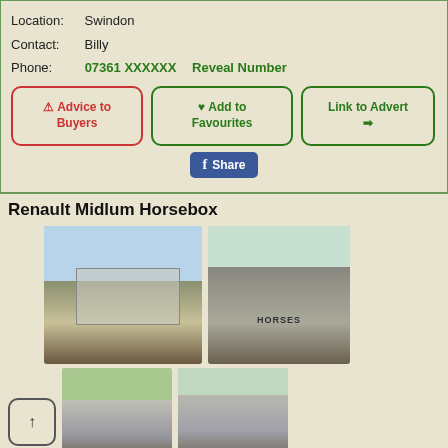Location: Swindon
Contact: Billy
Phone: 07361 XXXXXX   Reveal Number
Advice to Buyers
Add to Favourites
Link to Advert
Share
Renault Midlum Horsebox
[Figure (photo): Side view of a silver Renault Midlum horsebox truck]
[Figure (photo): Front view of a white Renault truck with HORSES lettering]
[Figure (photo): Rear/side view of horsebox]
[Figure (photo): Side view of horsebox on road]